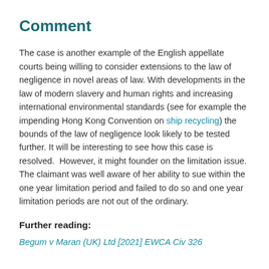Comment
The case is another example of the English appellate courts being willing to consider extensions to the law of negligence in novel areas of law. With developments in the law of modern slavery and human rights and increasing international environmental standards (see for example the impending Hong Kong Convention on ship recycling) the bounds of the law of negligence look likely to be tested further. It will be interesting to see how this case is resolved.  However, it might founder on the limitation issue. The claimant was well aware of her ability to sue within the one year limitation period and failed to do so and one year limitation periods are not out of the ordinary.
Further reading:
Begum v Maran (UK) Ltd [2021] EWCA Civ 326